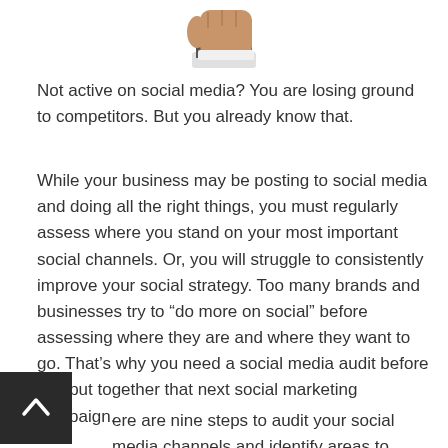[Figure (photo): Partial image of a person holding up a fist, cropped so only the lower arm and fist are visible at the top of the page, with a white background.]
Not active on social media? You are losing ground to competitors. But you already know that.
While your business may be posting to social media and doing all the right things, you must regularly assess where you stand on your most important social channels. Or, you will struggle to consistently improve your social strategy. Too many brands and businesses try to “do more on social” before assessing where they are and where they want to go. That’s why you need a social media audit before you put together that next social marketing campaign.
Here are nine steps to audit your social media channels and identify areas to improve.